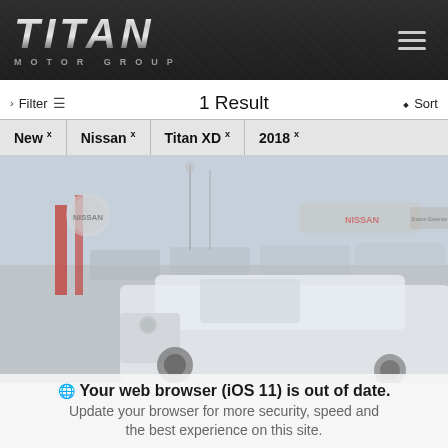TITAN MOTOR GROUP
Filter  1 Result  Sort
New ×
Nissan ×
Titan XD ×
2018 ×
[Figure (photo): Photo of Nissan dealership lot with a white Nissan Titan XD truck in foreground, Nissan signage visible in background]
Your web browser (iOS 11) is out of date. Update your browser for more security, speed and the best experience on this site.